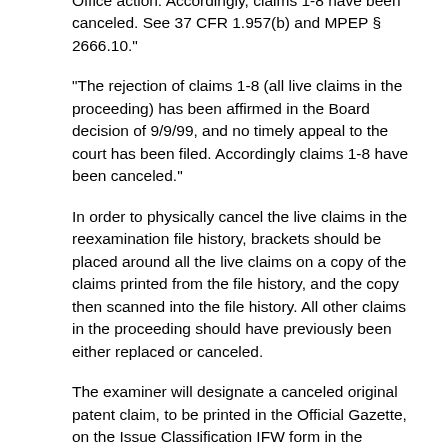Office action. Accordingly, claims 1-8 have been canceled. See 37 CFR 1.957(b) and MPEP § 2666.10."
"The rejection of claims 1-8 (all live claims in the proceeding) has been affirmed in the Board decision of 9/9/99, and no timely appeal to the court has been filed. Accordingly claims 1-8 have been canceled."
In order to physically cancel the live claims in the reexamination file history, brackets should be placed around all the live claims on a copy of the claims printed from the file history, and the copy then scanned into the file history. All other claims in the proceeding should have previously been either replaced or canceled.
The examiner will designate a canceled original patent claim, to be printed in the Official Gazette, on the Issue Classification IFW form in the appropriate place for the claim chosen.